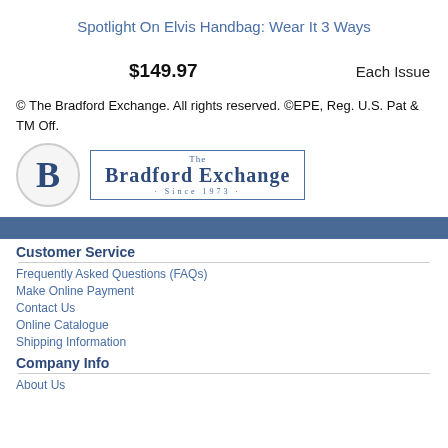Spotlight On Elvis Handbag: Wear It 3 Ways
$149.97    Each Issue
© The Bradford Exchange. All rights reserved. ©EPE, Reg. U.S. Pat & TM Off.
[Figure (logo): The Bradford Exchange logo with large B in circle and 'The Bradford Exchange · Since 1973 ·' text]
Customer Service
Frequently Asked Questions (FAQs)
Make Online Payment
Contact Us
Online Catalogue
Shipping Information
Company Info
About Us